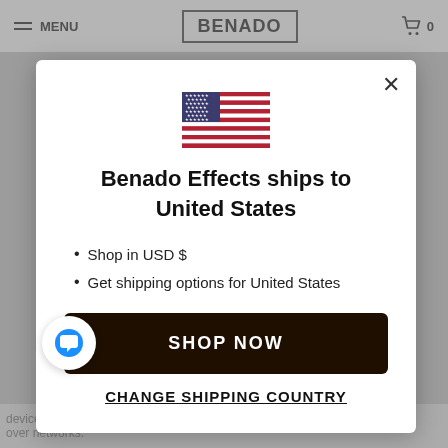MENU | BENADO | 0
[Figure (screenshot): US flag emoji/icon centered in modal]
Benado Effects ships to United States
Shop in USD $
Get shipping options for United States
SHOP NOW
CHANGE SHIPPING COUNTRY
devices. Credit card information is always encrypted o... over networks.